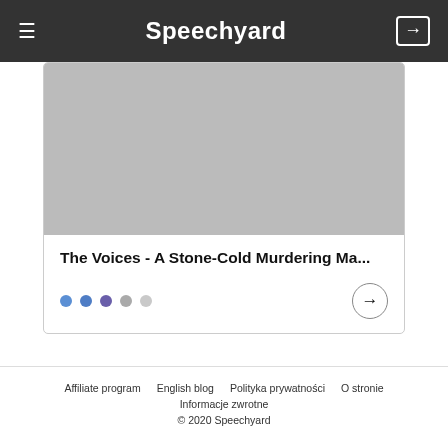Speechyard
[Figure (photo): Gray placeholder image for a speech/movie card]
The Voices - A Stone-Cold Murdering Ma...
Affiliate program   English blog   Polityka prywatności   O stronie   Informacje zwrotne   © 2020 Speechyard